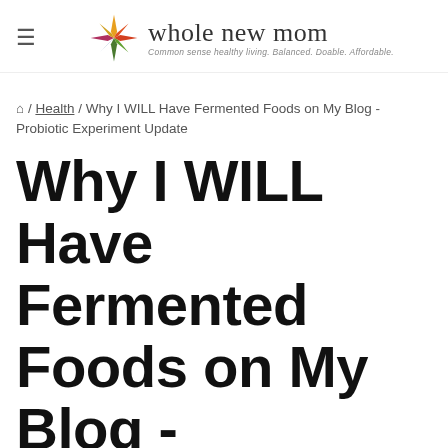whole new mom — Common sense healthy living. Balanced. Doable. Affordable.
🏠 / Health / Why I WILL Have Fermented Foods on My Blog - Probiotic Experiment Update
Why I WILL Have Fermented Foods on My Blog - Probiotic Experiment Update